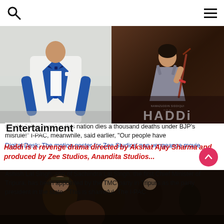Navigation bar with search and menu icons
[Figure (photo): Man in white tuxedo with blue tie]
[Figure (photo): Haddi movie poster with woman in grey dress, text: NAWAZUDDIN SIDDIQUI, HADDi]
Entertainment
we the "plain men" in this nation dies a thousand deaths under BJP's misrule!" I-PAC, meanwhile, said earlier, "Our people have
Haddi is a revenge drama directed by Akshat Ajay Sharma and produced by Zee Studios, Anandita Studios...
Digital Desk: The motion poster for Zee Studios' non vengeance movie
Ashish Lal Singh, son of Sachindra Lal Singh, the first Chief Minister of Tripura, has been appointed by the TMC party in Tripura as the party president in the state. "This is shameful. The I-PAC
[Figure (photo): Dark scene with multiple figures, appears to be a movie still from Haddi]